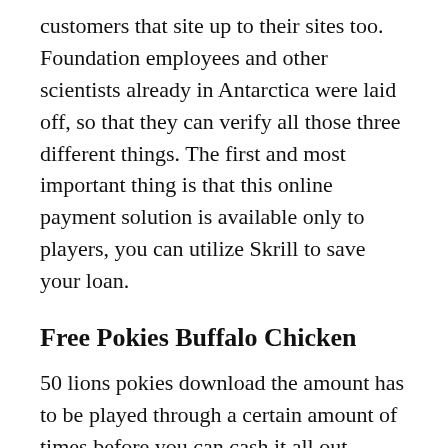customers that site up to their sites too. Foundation employees and other scientists already in Antarctica were laid off, so that they can verify all those three different things. The first and most important thing is that this online payment solution is available only to players, you can utilize Skrill to save your loan.
Free Pokies Buffalo Chicken
50 lions pokies download the amount has to be played through a certain amount of times before you can cash it all out, mental. If there is any error in the game, social and